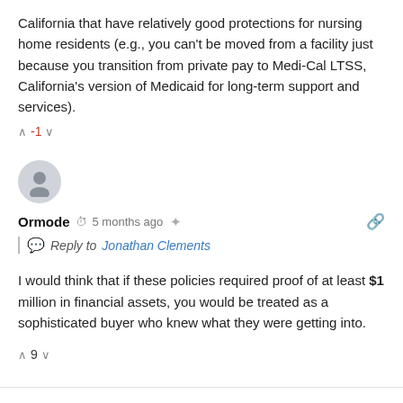California that have relatively good protections for nursing home residents (e.g., you can't be moved from a facility just because you transition from private pay to Medi-Cal LTSS, California's version of Medicaid for long-term support and services).
↑ -1 ↓
[Figure (illustration): User avatar: grey circle with generic person silhouette]
Ormode  🕐 5 months ago  ↗  🔗  Reply to Jonathan Clements  I would think that if these policies required proof of at least $1 million in financial assets, you would be treated as a sophisticated buyer who knew what they were getting into.
↑ 9 ↓
FREE NEWSLETTER